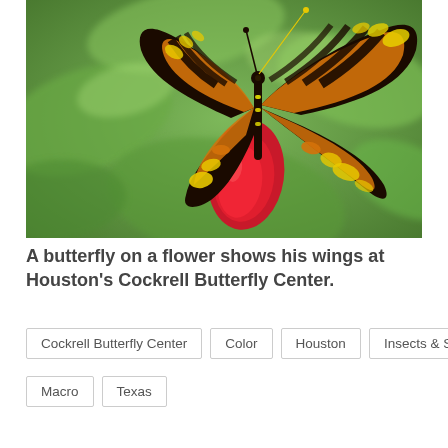[Figure (photo): Close-up photograph of an orange and black striped butterfly (Zebra Longwing) perched on a bright red flower or fingernail, with blurred green leaves in the background, taken at Houston's Cockrell Butterfly Center.]
A butterfly on a flower shows his wings at Houston's Cockrell Butterfly Center.
Cockrell Butterfly Center
Color
Houston
Insects & Spiders
Macro
Texas